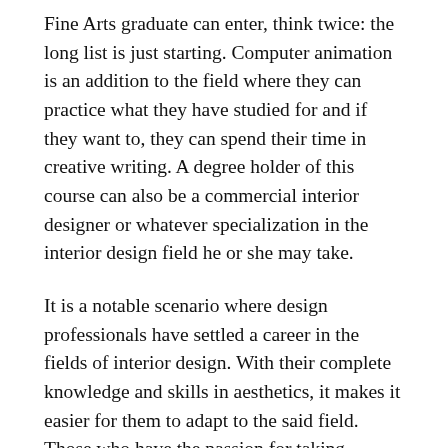Fine Arts graduate can enter, think twice: the long list is just starting. Computer animation is an addition to the field where they can practice what they have studied for and if they want to, they can spend their time in creative writing. A degree holder of this course can also be a commercial interior designer or whatever specialization in the interior design field he or she may take.
It is a notable scenario where design professionals have settled a career in the fields of interior design. With their complete knowledge and skills in aesthetics, it makes it easier for them to adapt to the said field. Those who have the passion for taking aesthetically beautiful pictures and images may involve themselves into the field of photography. Those who have dreamed to produce a film can enter the film production industry. These are only a few of the fields where a Fine Arts graduate can